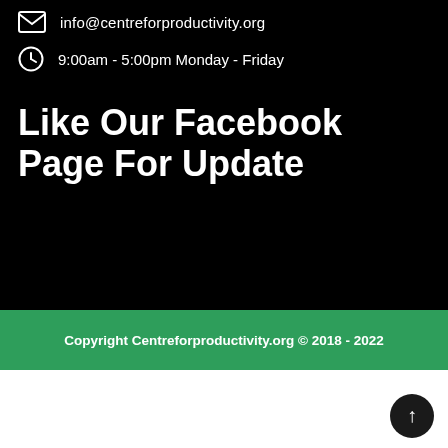info@centreforproductivity.org
9:00am - 5:00pm Monday - Friday
Like Our Facebook Page For Update
Copyright Centreforproductivity.org © 2018 - 2022